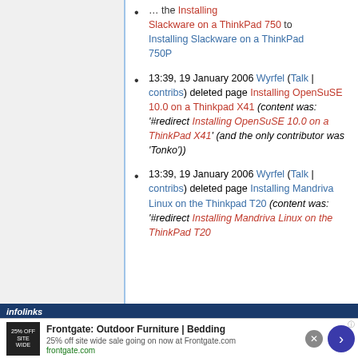13:39, 19 January 2006 Wyrfel (Talk | contribs) deleted page Installing OpenSuSE 10.0 on a Thinkpad X41 (content was: '#redirect Installing OpenSuSE 10.0 on a ThinkPad X41' (and the only contributor was 'Tonko'))
13:39, 19 January 2006 Wyrfel (Talk | contribs) deleted page Installing Mandriva Linux on the Thinkpad T20 (content was: '#redirect Installing Mandriva Linux on the ThinkPad T20'...
[Figure (screenshot): Frontgate outdoor furniture advertisement banner with 25% off sitewide sale]